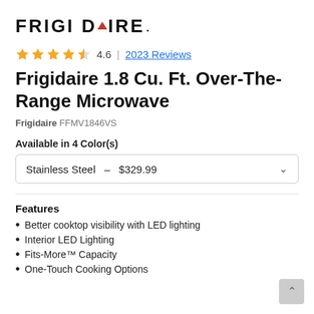[Figure (logo): Frigidaire logo with red triangle replacing the letter A]
★★★★½ 4.6 | 2023 Reviews
Frigidaire 1.8 Cu. Ft. Over-The-Range Microwave
Frigidaire FFMV1846VS
Available in 4 Color(s)
Stainless Steel  –  $329.99
Features
Better cooktop visibility with LED lighting
Interior LED Lighting
Fits-More™ Capacity
One-Touch Cooking Options